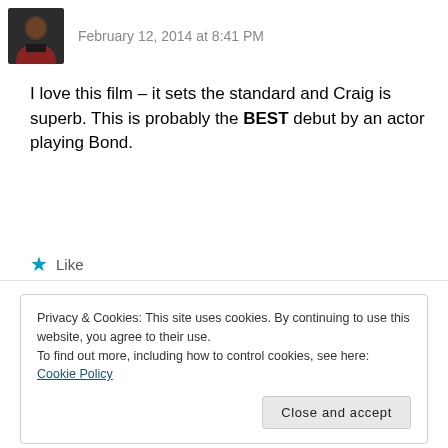February 12, 2014 at 8:41 PM
I love this film – it sets the standard and Craig is superb. This is probably the BEST debut by an actor playing Bond.
★ Like
Reply
Privacy & Cookies: This site uses cookies. By continuing to use this website, you agree to their use.
To find out more, including how to control cookies, see here: Cookie Policy
Close and accept